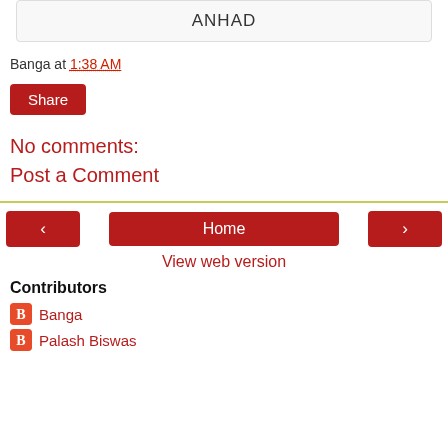ANHAD
Banga at 1:38 AM
Share
No comments:
Post a Comment
< Home >
View web version
Contributors
Banga
Palash Biswas